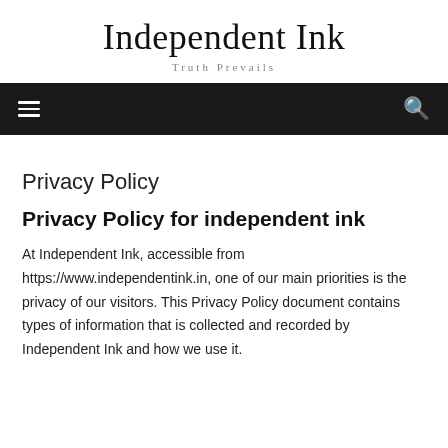Independent Ink
Truth Prevails
[Figure (other): Navigation bar with hamburger menu icon on left and search icon on right, dark background]
Privacy Policy
Privacy Policy for independent ink
At Independent Ink, accessible from https://www.independentink.in, one of our main priorities is the privacy of our visitors. This Privacy Policy document contains types of information that is collected and recorded by Independent Ink and how we use it.